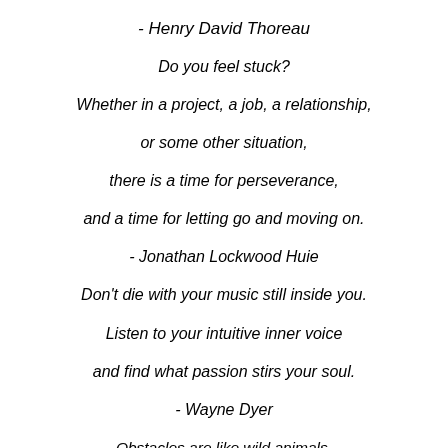- Henry David Thoreau
Do you feel stuck? Whether in a project, a job, a relationship, or some other situation, there is a time for perseverance, and a time for letting go and moving on. - Jonathan Lockwood Huie
Don't die with your music still inside you. Listen to your intuitive inner voice and find what passion stirs your soul. - Wayne Dyer
Obstacles are like wild animals. They are cowards but they will bluff you if they can. If they see you are afraid of them... they are liable to spring upon you; but if you look them squarely in the eye, they will slink out of sight. - Orison Swett Marden
If you want to be happy, be. - Leo Tolstoy
Move out of your comfort zone. You can only